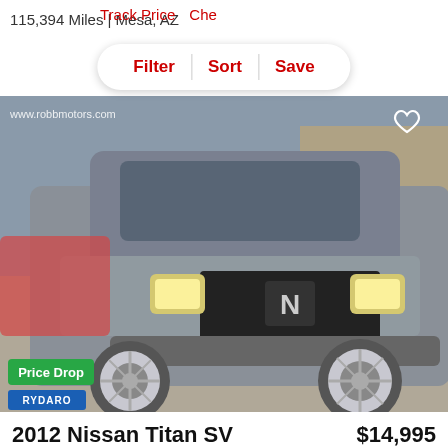115,394 Miles | Mesa, AZ
Track Price   Che   Filter   Sort   Save
[Figure (photo): Front view of a grey 2012 Nissan Titan SV pickup truck with chrome wheels, parked at a car dealership lot (robb motors). A yellow sports car is visible to the right. A 'Price Drop' green badge and blue RYDARO badge are overlaid at the bottom left. A heart/favorite icon appears at the top right.]
2012 Nissan Titan SV
$14,995
108,640 Miles | Mesa, AZ
est. $216/mo